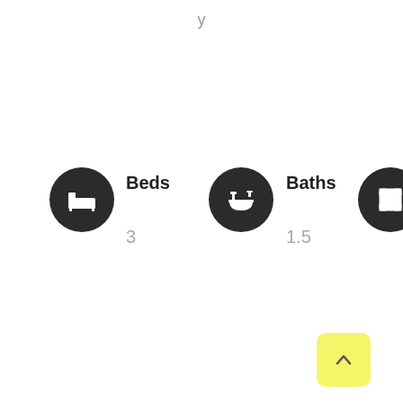y
[Figure (infographic): Property listing icons showing bed icon (circle), Beds label with value 3; bath icon (circle), Baths label with value 1.5; expand icon (circle), Sq. Ft. label with value 1,724]
[Figure (other): Yellow scroll-to-top button with upward chevron arrow]